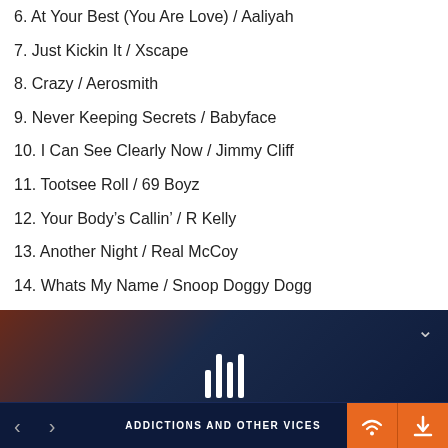6. At Your Best (You Are Love) / Aaliyah
7. Just Kickin It / Xscape
8. Crazy / Aerosmith
9. Never Keeping Secrets / Babyface
10. I Can See Clearly Now / Jimmy Cliff
11. Tootsee Roll / 69 Boyz
12. Your Body’s Callin’ / R Kelly
13. Another Night / Real McCoy
14. Whats My Name / Snoop Doggy Dogg
15. Keep Ya Head Up / 2Pac
[Figure (screenshot): Music player interface with audio waveform/pause icon, navigation controls, and show title ADDICTIONS AND OTHER VICES at the bottom]